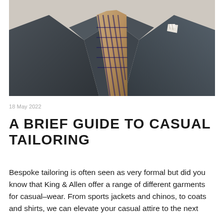[Figure (photo): Close-up photograph of a man wearing a dark charcoal blazer/sports jacket with a plaid scarf and a white pocket square]
18 May 2022
A BRIEF GUIDE TO CASUAL TAILORING
Bespoke tailoring is often seen as very formal but did you know that King & Allen offer a range of different garments for casual-wear. From sports jackets and chinos, to coats and shirts, we can elevate your casual attire to the next level. Read on to find out more about how to...